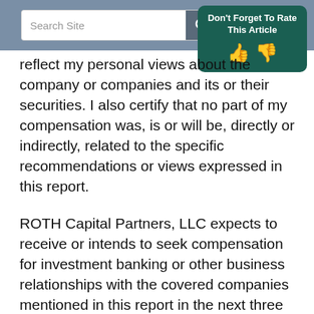[Figure (screenshot): Search bar UI element with gray background, search input field and magnifying glass icon button]
[Figure (infographic): Dark green rounded popup with text 'Don't Forget To Rate This Article' and thumbs up / thumbs down icons]
reflect my personal views about the company or companies and its or their securities. I also certify that no part of my compensation was, is or will be, directly or indirectly, related to the specific recommendations or views expressed in this report.
ROTH Capital Partners, LLC expects to receive or intends to seek compensation for investment banking or other business relationships with the covered companies mentioned in this report in the next three months. The material, information and facts discussed in this report other than the